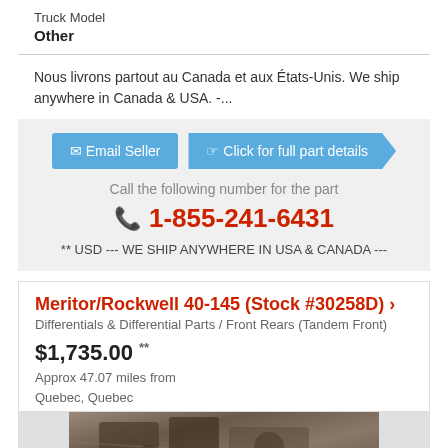Truck Model
Other
Nous livrons partout au Canada et aux États-Unis. We ship anywhere in Canada & USA. -...
Call the following number for the part
1-855-241-6431
** USD --- WE SHIP ANYWHERE IN USA & CANADA ---
Meritor/Rockwell 40-145 (Stock #30258D)
Differentials & Differential Parts / Front Rears (Tandem Front)
$1,735.00 **
Approx 47.07 miles from Quebec, Quebec
[Figure (photo): Photo of truck differential parts]